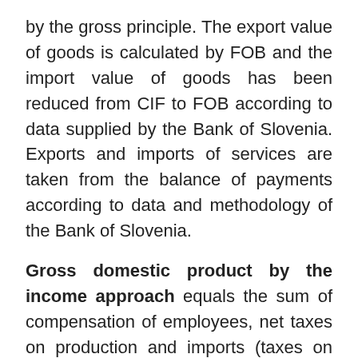by the gross principle. The export value of goods is calculated by FOB and the import value of goods has been reduced from CIF to FOB according to data supplied by the Bank of Slovenia. Exports and imports of services are taken from the balance of payments according to data and methodology of the Bank of Slovenia.
Gross domestic product by the income approach equals the sum of compensation of employees, net taxes on production and imports (taxes on production and imports less subsidies on production) and gross operating surplus and mixed income.
Compensation of employees is the sum of gross wages and salaries, and employers' social contributions. Employers' social contributions